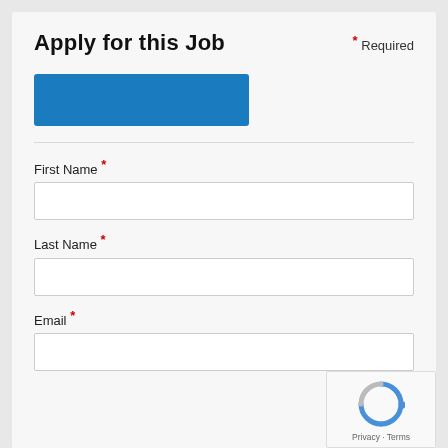Apply for this Job
* Required
[Figure (other): Blue button for applying]
First Name *
Last Name *
Email *
[Figure (other): reCAPTCHA badge with Privacy - Terms text]